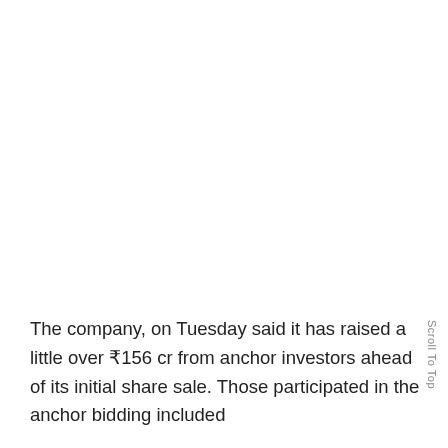The company, on Tuesday said it has raised a little over ₹156 cr from anchor investors ahead of its initial share sale. Those participated in the anchor bidding included